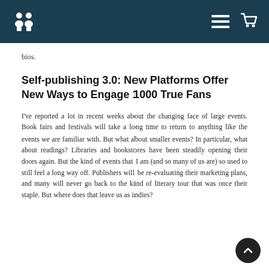Bookshop logo, hamburger menu, cart icon
bios.
Self-publishing 3.0: New Platforms Offer New Ways to Engage 1000 True Fans
I've reported a lot in recent weeks about the changing face of large events. Book fairs and festivals will take a long time to return to anything like the events we are familiar with. But what about smaller events? In particular, what about readings? Libraries and bookstores have been steadily opening their doors again. But the kind of events that I am (and so many of us are) so used to still feel a long way off. Publishers will be re-evaluating their marketing plans, and many will never go back to the kind of literary tour that was once their staple. But where does that leave us as indies?